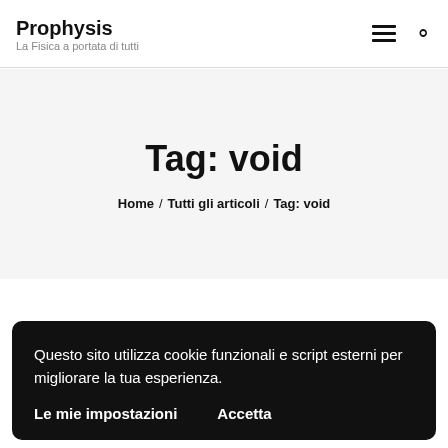Prophysis — La Fisica a portata di tutti
Tag: void
Home / Tutti gli articoli / Tag: void
Questo sito utilizza cookie funzionali e script esterni per migliorare la tua esperienza.
Le mie impostazioni   Accetta